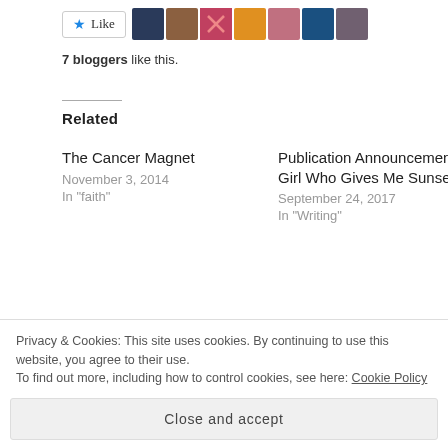[Figure (other): Like button with star icon and 7 blogger avatar thumbnails]
7 bloggers like this.
Related
The Cancer Magnet
November 3, 2014
In "faith"
Publication Announcement – The Girl Who Gives Me Sunsets
September 24, 2017
In "Writing"
The Harry, Hermione, Ron Triangle
Privacy & Cookies: This site uses cookies. By continuing to use this website, you agree to their use.
To find out more, including how to control cookies, see here: Cookie Policy
Close and accept